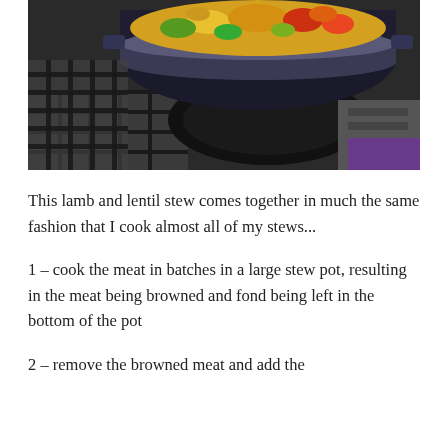[Figure (photo): A large dark pot cooking on a stovetop burner, filled with a colorful mixture of yellow, green, orange and red ingredients (lamb and lentil stew). The stove grates and surrounding metallic elements are visible.]
This lamb and lentil stew comes together in much the same fashion that I cook almost all of my stews...
1 – cook the meat in batches in a large stew pot, resulting in the meat being browned and fond being left in the bottom of the pot
2 – remove the browned meat and add the